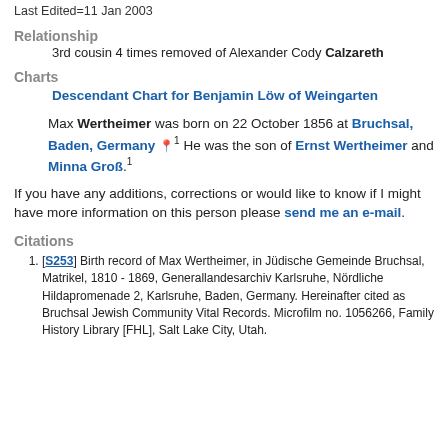Last Edited=11 Jan 2003
Relationship
3rd cousin 4 times removed of Alexander Cody Calzareth
Charts
Descendant Chart for Benjamin Löw of Weingarten
Max Wertheimer was born on 22 October 1856 at Bruchsal, Baden, Germany. He was the son of Ernst Wertheimer and Minna Groß.
If you have any additions, corrections or would like to know if I might have more information on this person please send me an e-mail.
Citations
[S253] Birth record of Max Werheimer, in Jüdische Gemeinde Bruchsal, Matrikel, 1810 - 1869, Generallandesarchiv Karlsruhe, Nördliche Hildapromenade 2, Karlsruhe, Baden, Germany. Hereinafter cited as Bruchsal Jewish Community Vital Records. Microfilm no. 1056266, Family History Library [FHL], Salt Lake City, Utah.